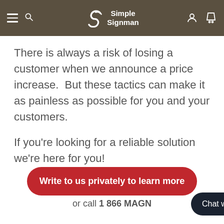Simple Signman
There is always a risk of losing a customer when we announce a price increase. But these tactics can make it as painless as possible for you and your customers.
If you're looking for a reliable solution we're here for you!
Write to us privately to learn more
or call 1 866 MAGN